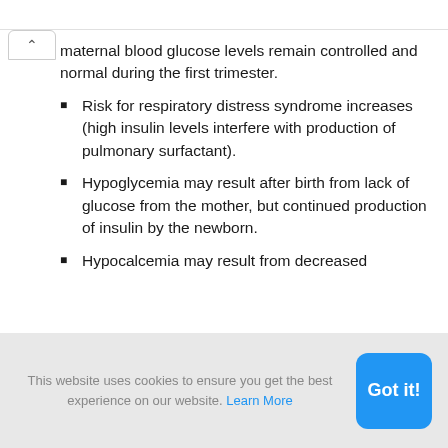maternal blood glucose levels remain controlled and normal during the first trimester.
Risk for respiratory distress syndrome increases (high insulin levels interfere with production of pulmonary surfactant).
Hypoglycemia may result after birth from lack of glucose from the mother, but continued production of insulin by the newborn.
Hypocalcemia may result from decreased
This website uses cookies to ensure you get the best experience on our website. Learn More